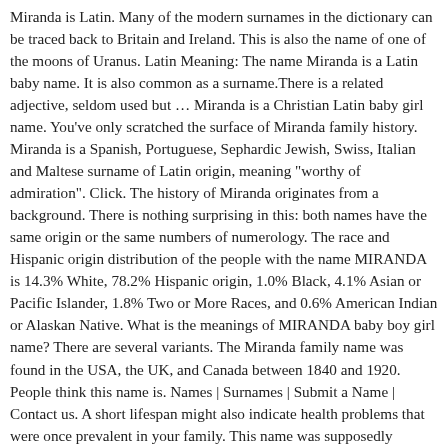Miranda is Latin. Many of the modern surnames in the dictionary can be traced back to Britain and Ireland. This is also the name of one of the moons of Uranus. Latin Meaning: The name Miranda is a Latin baby name. It is also common as a surname.There is a related adjective, seldom used but … Miranda is a Christian Latin baby girl name. You've only scratched the surface of Miranda family history. Miranda is a Spanish, Portuguese, Sephardic Jewish, Swiss, Italian and Maltese surname of Latin origin, meaning "worthy of admiration". Click. The history of Miranda originates from a background. There is nothing surprising in this: both names have the same origin or the same numbers of numerology. The race and Hispanic origin distribution of the people with the name MIRANDA is 14.3% White, 78.2% Hispanic origin, 1.0% Black, 4.1% Asian or Pacific Islander, 1.8% Two or More Races, and 0.6% American Indian or Alaskan Native. What is the meanings of MIRANDA baby boy girl name? There are several variants. The Miranda family name was found in the USA, the UK, and Canada between 1840 and 1920. People think this name is. Names | Surnames | Submit a Name | Contact us. A short lifespan might also indicate health problems that were once prevalent in your family. This name was supposedly invented by William Shakespeare for a character in his last play 'The Tempest'. Many of the modern surnames in the dictionary can be traced back to Britain and Ireland. MIRANDA Name Meaning and History. The derivation of the place name is uncertain; it may be of pre-Roman origin, or from Latin miranda 'view', 'outlook'. This is the culture in which the name originated, or in the case of a word, the language. For the extremely...